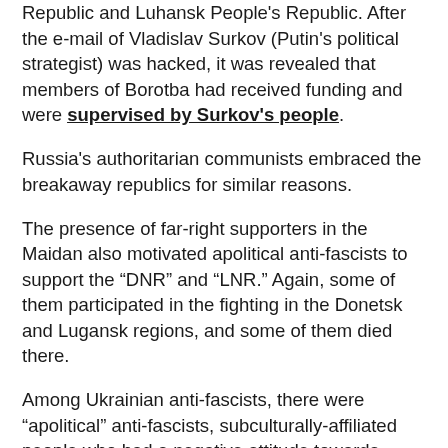Republic and Luhansk People's Republic. After the e-mail of Vladislav Surkov (Putin's political strategist) was hacked, it was revealed that members of Borotba had received funding and were supervised by Surkov's people.
Russia's authoritarian communists embraced the breakaway republics for similar reasons.
The presence of far-right supporters in the Maidan also motivated apolitical anti-fascists to support the “DNR” and “LNR.” Again, some of them participated in the fighting in the Donetsk and Lugansk regions, and some of them died there.
Among Ukrainian anti-fascists, there were “apolitical” anti-fascists, subculturally-affiliated people who had a negative attitude towards fascism “because our